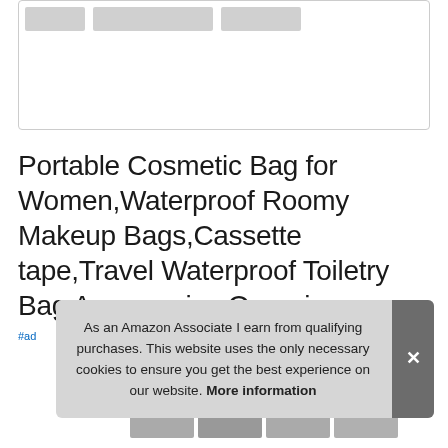[Figure (screenshot): Product image box with thumbnail strip showing partial product images at the top]
Portable Cosmetic Bag for Women,Waterproof Roomy Makeup Bags,Cassette tape,Travel Waterproof Toiletry Bag Accessories Organizer
#ad
[Figure (photo): Small product thumbnail images at the bottom of the page]
As an Amazon Associate I earn from qualifying purchases. This website uses the only necessary cookies to ensure you get the best experience on our website. More information